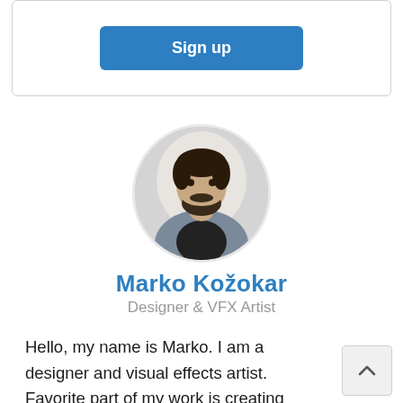[Figure (other): Blue Sign up button inside a bordered card at top of page]
[Figure (photo): Circular profile photo of Marko Kozokar, a bearded man in a grey jacket]
Marko Kožokar
Designer & VFX Artist
Hello, my name is Marko. I am a designer and visual effects artist. Favorite part of my work is creating Photoshop actions with which anyone can create amazing and advanced photo effects without having any